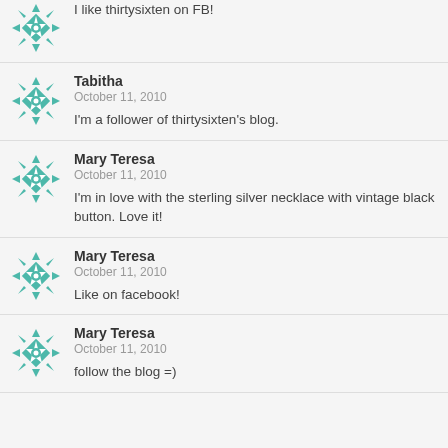I like thirtysixten on FB!
Tabitha
October 11, 2010
I'm a follower of thirtysixten's blog.
Mary Teresa
October 11, 2010
I'm in love with the sterling silver necklace with vintage black button. Love it!
Mary Teresa
October 11, 2010
Like on facebook!
Mary Teresa
October 11, 2010
follow the blog =)